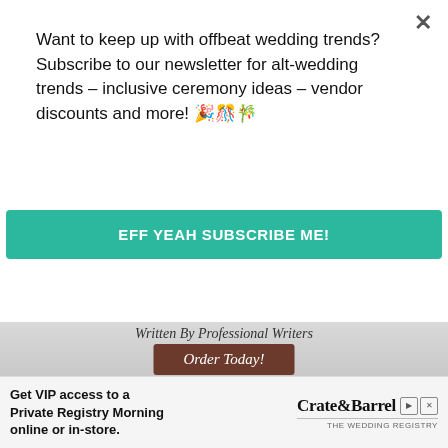Want to keep up with offbeat wedding trends?Subscribe to our newsletter for alt-wedding trends – inclusive ceremony ideas – vendor discounts and more! 🎉🎊🎋
EFF YEAH SUBSCRIBE ME!
[Figure (screenshot): Portion of a wedding stationery design website showing 'Written By Professional Writers' text and an 'Order Today!' button in a brown/dark red ribbon style]
[Figure (screenshot): Laptop showing a wedding invitation design software interface with floral wedding invitation (Leslie & Ben) visible on screen, pink vertical bar on right side]
DESIGN & PRINT
[Figure (infographic): Crate & Barrel advertisement banner: 'Get VIP access to a Private Registry Morning online or in-store.' with Crate&Barrel THE WEDDING REGISTRY branding]